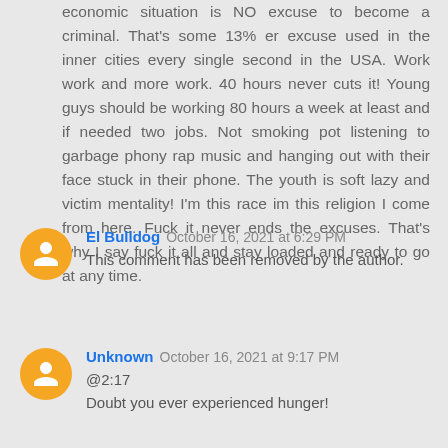economic situation is NO excuse to become a criminal. That's some 13% er excuse used in the inner cities every single second in the USA. Work work and more work. 40 hours never cuts it! Young guys should be working 80 hours a week at least and if needed two jobs. Not smoking pot listening to garbage phony rap music and hanging out with their face stuck in their phone. The youth is soft lazy and victim mentality! I'm this race im this religion I come from here. Fuck it never ends the excuses. That's why I say fuck it all and stay loaded and ready to go at any time.
El Bulldog  October 16, 2021 at 6:29 PM
This comment has been removed by the author.
Unknown  October 16, 2021 at 9:17 PM
@2:17
Doubt you ever experienced hunger!